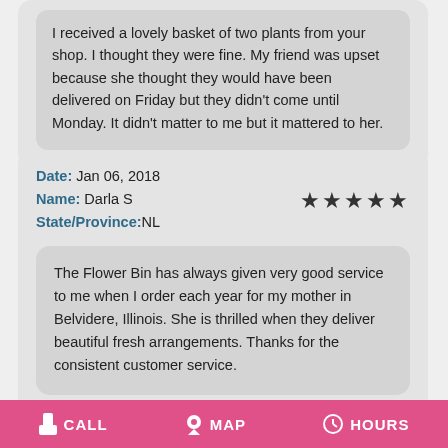I received a lovely basket of two plants from your shop. I thought they were fine. My friend was upset because she thought they would have been delivered on Friday but they didn't come until Monday. It didn't matter to me but it mattered to her.
Date: Jan 06, 2018
Name: Darla S
State/Province:NL
The Flower Bin has always given very good service to me when I order each year for my mother in Belvidere, Illinois. She is thrilled when they deliver beautiful fresh arrangements. Thanks for the consistent customer service.
CALL   MAP   HOURS